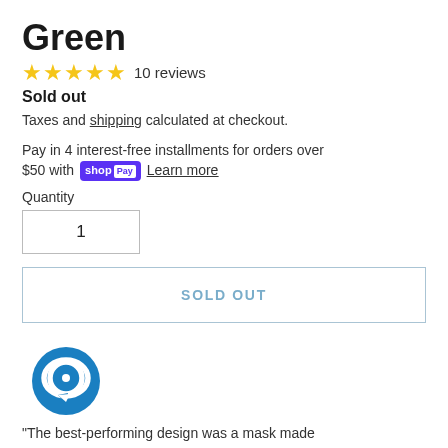Green
★★★★★ 10 reviews
Sold out
Taxes and shipping calculated at checkout.
Pay in 4 interest-free installments for orders over $50 with shopPay Learn more
Quantity
1
SOLD OUT
[Figure (logo): Blue circular chat/message icon logo]
"The best-performing design was a mask made